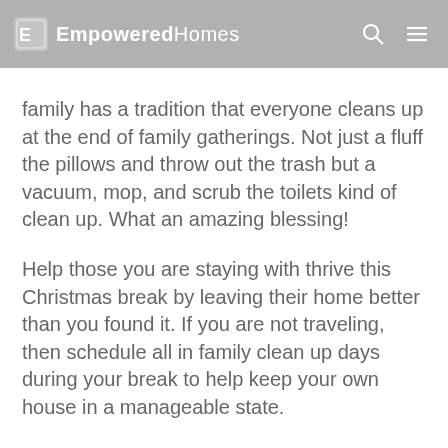EmpoweredHomes
in your house is chaotic, her in-law family has a tradition that everyone cleans up at the end of family gatherings. Not just a fluff the pillows and throw out the trash but a vacuum, mop, and scrub the toilets kind of clean up. What an amazing blessing!
Help those you are staying with thrive this Christmas break by leaving their home better than you found it. If you are not traveling, then schedule all in family clean up days during your break to help keep your own house in a manageable state.
Practical tip: Be sure to prepare your family for this expectation prior to the actual clean up time. Let your kids know what their responsibilities